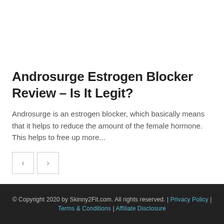Androsurge Estrogen Blocker Review – Is It Legit?
Androsurge is an estrogen blocker, which basically means that it helps to reduce the amount of the female hormone. This helps to free up more...
© Copyright 2020 by Skinny2Fit.com. All rights reserved. | Privacy Policy | Terms & Conditions | Affiliate Disclosure